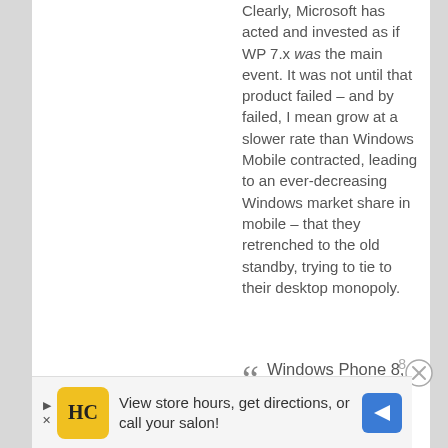Clearly, Microsoft has acted and invested as if WP 7.x was the main event. It was not until that product failed – and by failed, I mean grow at a slower rate than Windows Mobile contracted, leading to an ever-decreasing Windows market share in mobile – that they retrenched to the old standby, trying to tie to their desktop monopoly.
Windows Phone 8, Windows RT
View store hours, get directions, or call your salon!